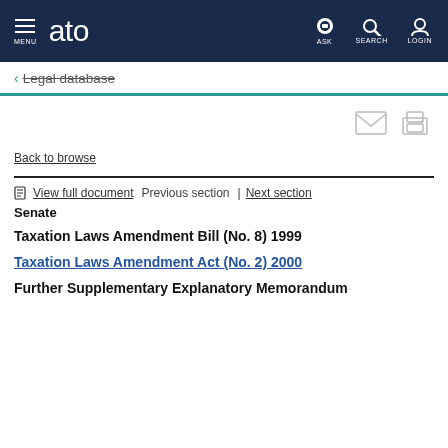MENU | ato | ASK | SEARCH | LOGIN
← Legal database
[Figure (other): Email and print action icons]
Back to browse
View full document  Previous section | Next section
Senate
Taxation Laws Amendment Bill (No. 8) 1999
Taxation Laws Amendment Act (No. 2) 2000
Further Supplementary Explanatory Memorandum